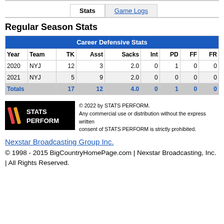Stats | Game Logs
Regular Season Stats
| Year | Team | TK | Asst | Sacks | Int | PD | FF | FR |
| --- | --- | --- | --- | --- | --- | --- | --- | --- |
| 2020 | NYJ | 12 | 3 | 2.0 | 0 | 1 | 0 | 0 |
| 2021 | NYJ | 5 | 9 | 2.0 | 0 | 0 | 0 | 0 |
| Totals |  | 17 | 12 | 4.0 | 0 | 1 | 0 | 0 |
[Figure (logo): STATS PERFORM logo on black background]
© 2022 by STATS PERFORM. Any commercial use or distribution without the express written consent of STATS PERFORM is strictly prohibited.
Nexstar Broadcasting Group Inc.
© 1998 - 2015 BigCountryHomePage.com | Nexstar Broadcasting, Inc. | All Rights Reserved.